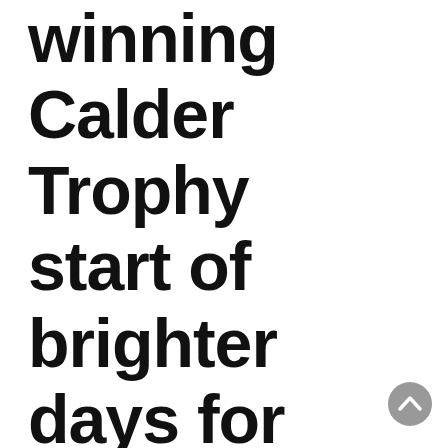winning Calder Trophy start of brighter days for Red Wings
[Figure (other): Circular scroll-to-top button icon, grey circle with upward chevron]